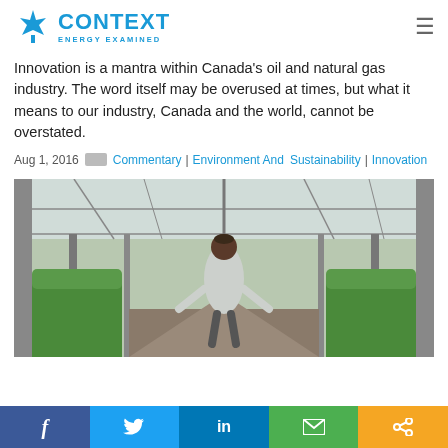[Figure (logo): Context Energy Examined logo with blue maple leaf and text]
Innovation is a mantra within Canada's oil and natural gas industry. The word itself may be overused at times, but what it means to our industry, Canada and the world, cannot be overstated.
Aug 1, 2016  Commentary | Environment And Sustainability | Innovation
[Figure (photo): Person walking through a large greenhouse with rows of green plants and glass roof structure]
[Figure (infographic): Social sharing bar with Facebook, Twitter, LinkedIn, Email, and Share buttons]